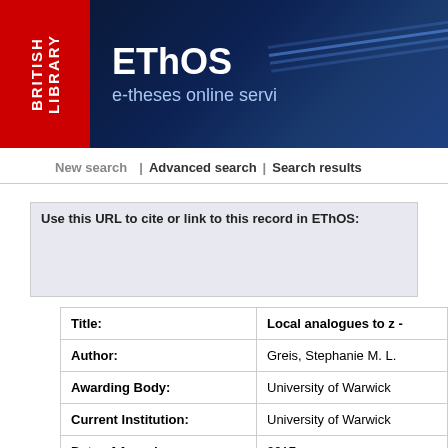[Figure (logo): British Library EThOS e-theses online service banner header with red British Library logo on left and dark blue EThOS banner on right]
New search | Advanced search | Search results
Use this URL to cite or link to this record in EThOS:
| Title: | Local analogues to z - |
| Author: | Greis, Stephanie M. L. |
| Awarding Body: | University of Warwick |
| Current Institution: | University of Warwick |
| Date of Award: | 2017 |